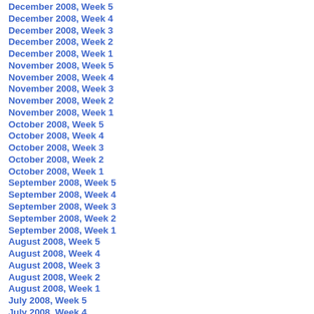December 2008, Week 5
December 2008, Week 4
December 2008, Week 3
December 2008, Week 2
December 2008, Week 1
November 2008, Week 5
November 2008, Week 4
November 2008, Week 3
November 2008, Week 2
November 2008, Week 1
October 2008, Week 5
October 2008, Week 4
October 2008, Week 3
October 2008, Week 2
October 2008, Week 1
September 2008, Week 5
September 2008, Week 4
September 2008, Week 3
September 2008, Week 2
September 2008, Week 1
August 2008, Week 5
August 2008, Week 4
August 2008, Week 3
August 2008, Week 2
August 2008, Week 1
July 2008, Week 5
July 2008, Week 4
July 2008, Week 3
July 2008, Week 2
July 2008, Week 1